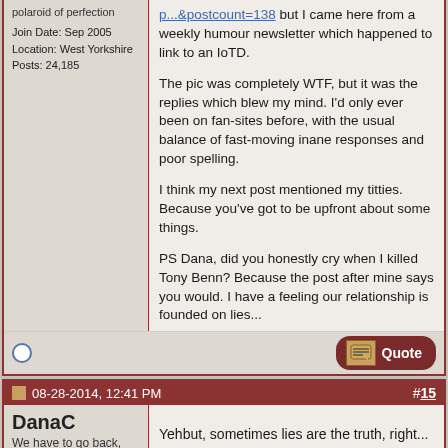polaroid of perfection
Join Date: Sep 2005
Location: West Yorkshire
Posts: 24,185
p...&postcount=138 but I came here from a weekly humour newsletter which happened to link to an IoTD.

The pic was completely WTF, but it was the replies which blew my mind. I'd only ever been on fan-sites before, with the usual balance of fast-moving inane responses and poor spelling.

I think my next post mentioned my titties.
Because you've got to be upfront about some things.

PS Dana, did you honestly cry when I killed Tony Benn? Because the post after mine says you would. I have a feeling our relationship is founded on lies...
08-28-2014, 12:41 PM  #15
DanaC
We have to go back, Kate!
Join Date: Apr 2004
Location: Yorkshire
Yehbut, sometimes lies are the truth, right...

Quote: